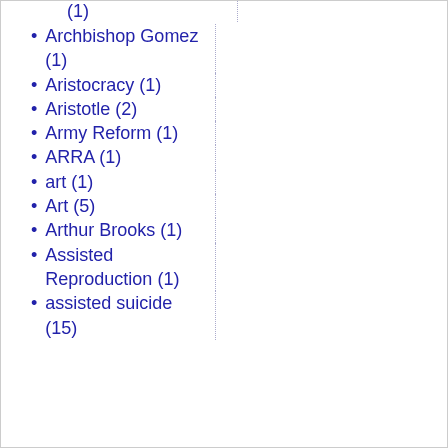(1)
Archbishop Gomez (1)
Aristocracy (1)
Aristotle (2)
Army Reform (1)
ARRA (1)
art (1)
Art (5)
Arthur Brooks (1)
Assisted Reproduction (1)
assisted suicide (15)